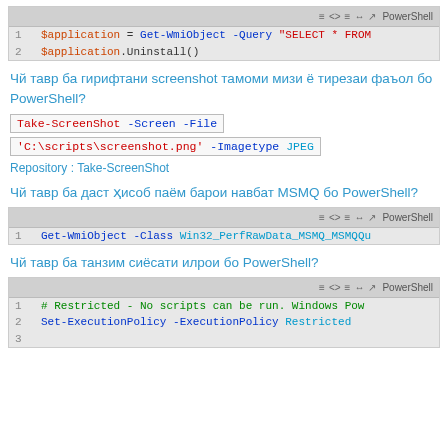[Figure (screenshot): PowerShell code block: line 1: $application = Get-WmiObject -Query "SELECT * FROM..., line 2: $application.Uninstall()]
Чй тавр ба гирифтани screenshot тамоми мизи ё тирезаи фаъол бо PowerShell?
[Figure (screenshot): Inline code: Take-ScreenShot -Screen -File]
[Figure (screenshot): Inline code: 'C:\scripts\screenshot.png' -Imagetype JPEG]
Repository : Take-ScreenShot
Чй тавр ба даст ҳисоб паём барои навбат MSMQ бо PowerShell?
[Figure (screenshot): PowerShell code block line 1: Get-WmiObject -Class Win32_PerfRawData_MSMQ_MSMQQu]
Чй тавр ба танзим сиёсати илрои бо PowerShell?
[Figure (screenshot): PowerShell code block: line 1: # Restricted - No scripts can be run. Windows Pow, line 2: Set-ExecutionPolicy -ExecutionPolicy Restricted, line 3: (cut off)]